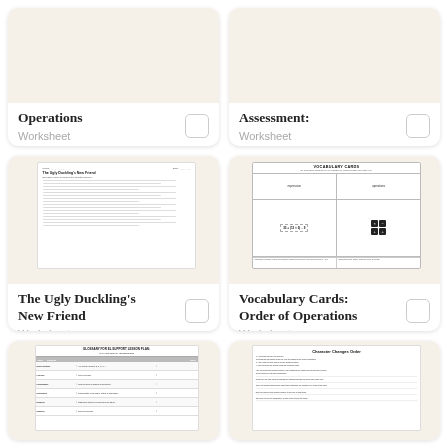[Figure (screenshot): Card showing Order of Operations Worksheet preview (top half cut off) with title 'Operations' and subtitle 'Worksheet' and a checkbox]
[Figure (screenshot): Card showing Assessment Worksheet preview (top half cut off) with title 'Assessment:' and subtitle 'Worksheet' and a checkbox]
[Figure (screenshot): Card showing 'The Ugly Duckling's New Friend' worksheet preview with mini document thumbnail, title text, and Worksheet subtitle]
[Figure (screenshot): Card showing 'Vocabulary Cards: Order of Operations' worksheet with vocabulary cards thumbnail and Worksheet subtitle]
[Figure (screenshot): Card showing a glossary document preview, bottom portion cut off]
[Figure (screenshot): Card showing 'Character Changes Order' document preview, bottom portion cut off]